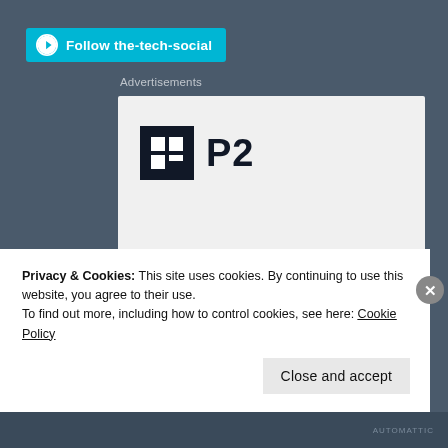[Figure (screenshot): WordPress Follow button bar with cyan background, WordPress circle logo icon and text 'Follow the-tech-social']
Advertisements
[Figure (logo): P2 logo: black square icon with grid pattern and bold text 'P2']
Getting your team on the
Privacy & Cookies: This site uses cookies. By continuing to use this website, you agree to their use.
To find out more, including how to control cookies, see here: Cookie Policy
Close and accept